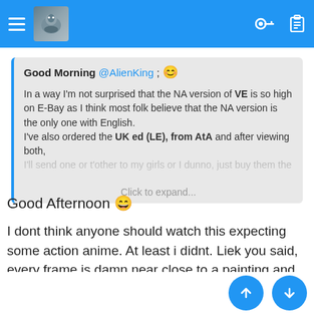[Figure (screenshot): Mobile app top navigation bar with hamburger menu, avatar icon, key icon, and clipboard icon on blue background]
Good Morning @AlienKing ; 😊

In a way I'm not surprised that the NA version of VE is so high on E-Bay as I think most folk believe that the NA version is the only one with English.
I've also ordered the UK ed (LE), from AtA and after viewing both, I'll send one or t'other to my girls or I dunno, just buy them the

Click to expand...
Good Afternoon 😄

I dont think anyone should watch this expecting some action anime. At least i didnt. Liek you said, every frame is damn near close to a painting and just so beautiful to look at even if you dont like the anime.
👍 Grendel